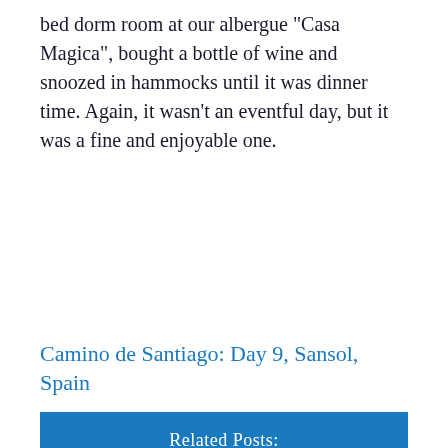bed dorm room at our albergue "Casa Magica", bought a bottle of wine and snoozed in hammocks until it was dinner time. Again, it wasn't an eventful day, but it was a fine and enjoyable one.
Camino de Santiago: Day 9, Sansol, Spain
[Figure (other): Related Posts section with blue background containing a card for 'Camino de Santiago Blog: Day 9, Sansol, Spain' with a rounded border and dark navy caption area]